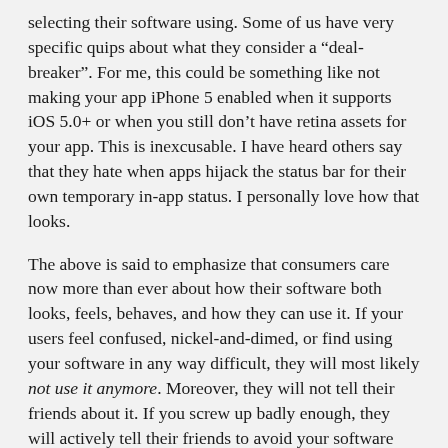selecting their software using. Some of us have very specific quips about what they consider a “deal-breaker”. For me, this could be something like not making your app iPhone 5 enabled when it supports iOS 5.0+ or when you still don’t have retina assets for your app. This is inexcusable. I have heard others say that they hate when apps hijack the status bar for their own temporary in-app status. I personally love how that looks.
The above is said to emphasize that consumers care now more than ever about how their software both looks, feels, behaves, and how they can use it. If your users feel confused, nickel-and-dimed, or find using your software in any way difficult, they will most likely not use it anymore. Moreover, they will not tell their friends about it. If you screw up badly enough, they will actively tell their friends to avoid your software altogether.
Read on →